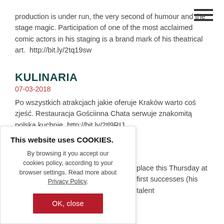☰ (hamburger menu icon)
production is under run, the very second of humour and the stage magic. Participation of one of the most acclaimed comic actors in his staging is a brand mark of his theatrical art.  http://bit.ly/2tq19sw
KULINARIA
07-03-2018
Po wszystkich atrakcjach jakie oferuje Kraków warto coś zjeść. Restauracja Gościinna Chata serwuje znakomitą polską kuchnię. http://bit.ly/2tl9RIJ
place this Thursday at first successes (his talent
This website uses COOKIES.

By browsing it you accept our cookies policy, according to your browser settings. Read more about Privacy Policy.

OK, close